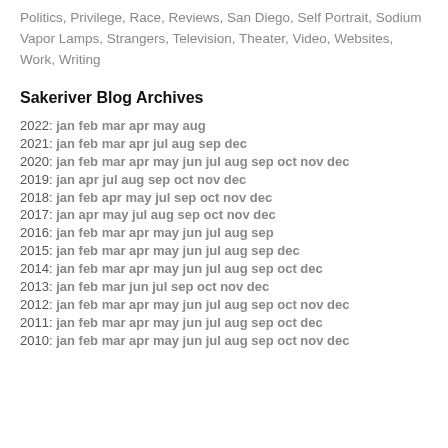Politics, Privilege, Race, Reviews, San Diego, Self Portrait, Sodium Vapor Lamps, Strangers, Television, Theater, Video, Websites, Work, Writing
Sakeriver Blog Archives
2022: jan feb mar apr may aug
2021: jan feb mar apr jul aug sep dec
2020: jan feb mar apr may jun jul aug sep oct nov dec
2019: jan apr jul aug sep oct nov dec
2018: jan feb apr may jul sep oct nov dec
2017: jan apr may jul aug sep oct nov dec
2016: jan feb mar apr may jun jul aug sep
2015: jan feb mar apr may jun jul aug sep dec
2014: jan feb mar apr may jun jul aug sep oct dec
2013: jan feb mar jun jul sep oct nov dec
2012: jan feb mar apr may jun jul aug sep oct nov dec
2011: jan feb mar apr may jun jul aug sep oct dec
2010: jan feb mar apr may jun jul aug sep oct nov dec